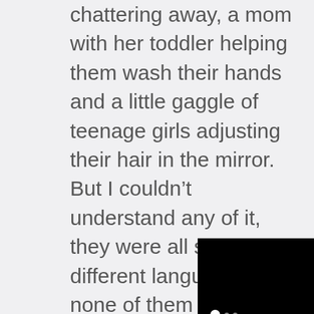chattering away, a mom with her toddler helping them wash their hands and a little gaggle of teenage girls adjusting their hair in the mirror. But I couldn’t understand any of it, they were all speaking different languages and none of them was speaking the same language. And in that moment, I like I was surrounded by the whole world. I didn’t need to speak their language to know what was happening, they were just living their lives. I felt honored to be in this space where people were being human, just like me.

This is how I feel when I walk the streets of New York City. I feel connected to the whole
[Figure (other): Black rectangle overlay in the upper right area, containing a white dot and a smaller grey dot, appearing to be a UI element or watermark.]